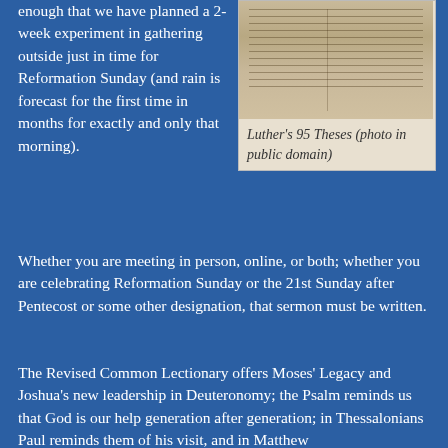enough that we have planned a 2-week experiment in gathering outside just in time for Reformation Sunday (and rain is forecast for the first time in months for exactly and only that morning).
[Figure (photo): Manuscript image of Luther's 95 Theses, showing handwritten text in columns on aged parchment.]
Luther's 95 Theses (photo in public domain)
Whether you are meeting in person, online, or both; whether you are celebrating Reformation Sunday or the 21st Sunday after Pentecost or some other designation, that sermon must be written.
The Revised Common Lectionary offers Moses' Legacy and Joshua's new leadership in Deuteronomy; the Psalm reminds us that God is our help generation after generation; in Thessalonians Paul reminds them of his visit, and in Matthew